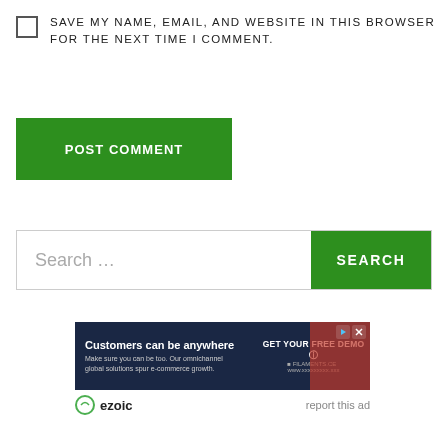SAVE MY NAME, EMAIL, AND WEBSITE IN THIS BROWSER FOR THE NEXT TIME I COMMENT.
POST COMMENT
Search …
SEARCH
[Figure (screenshot): Advertisement banner: 'Customers can be anywhere. Make sure you can be too. Our omnichannel global solutions spur e-commerce growth. GET YOUR FREE DEMO']
ezoic  report this ad